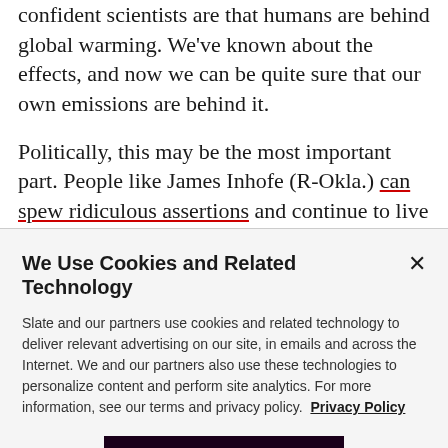confident scientists are that humans are behind global warming. We've known about the effects, and now we can be quite sure that our own emissions are behind it.

Politically, this may be the most important part. People like James Inhofe (R-Okla.) can spew ridiculous assertions and continue to live in a fantasy world, but this part of the IPCC report is specifically written for policymakers. The increased certainty over previous
We Use Cookies and Related Technology

Slate and our partners use cookies and related technology to deliver relevant advertising on our site, in emails and across the Internet. We and our partners also use these technologies to personalize content and perform site analytics. For more information, see our terms and privacy policy. Privacy Policy

OK